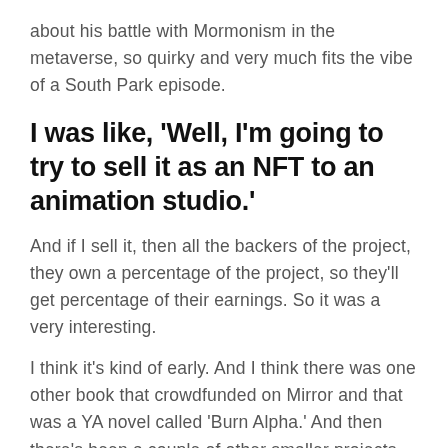about his battle with Mormonism in the metaverse, so quirky and very much fits the vibe of a South Park episode.
I was like, 'Well, I'm going to try to sell it as an NFT to an animation studio.'
And if I sell it, then all the backers of the project, they own a percentage of the project, so they'll get percentage of their earnings. So it was a very interesting.
I think it's kind of early. And I think there was one other book that crowdfunded on Mirror and that was a YA novel called 'Burn Alpha.' And then there's been a couple of other smaller projects, but what I'm really interested in is some of the